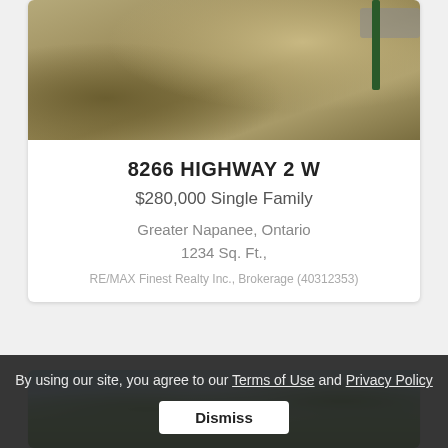[Figure (photo): Exterior photo of property showing dry grassy mound/terrain with a road and green pole visible in the background]
8266 HIGHWAY 2 W
$280,000 Single Family
Greater Napanee, Ontario
1234 Sq. Ft.,
RE/MAX Finest Realty Inc., Brokerage (40312353)
[Figure (photo): Partial exterior photo showing trees and blue sky, property listing below]
By using our site, you agree to our Terms of Use and Privacy Policy
Dismiss